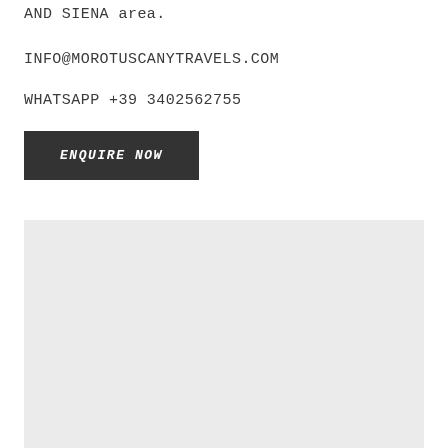AND SIENA area.
INFO@MOROTUSCANYTRAVELS.COM
WHATSAPP +39 3402562755
ENQUIRE NOW
[Figure (photo): Light grey placeholder image block at the bottom of the page]